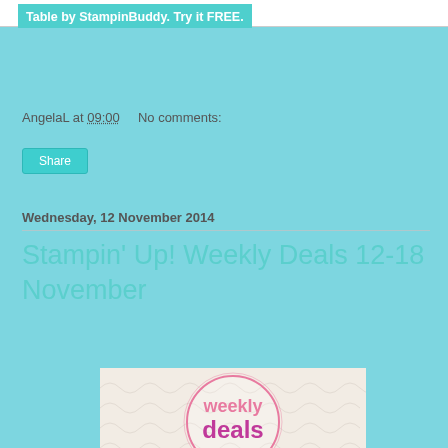Table by StampinBuddy. Try it FREE.
AngelaL at 09:00   No comments:
Share
Wednesday, 12 November 2014
Stampin' Up! Weekly Deals 12-18 November
[Figure (illustration): Weekly deals banner with decorative circle pattern and text 'weekly deals' in pink/magenta]
[Figure (photo): Row of stamping products including die cuts on teal card, ribbon spools, and washi tape rolls]